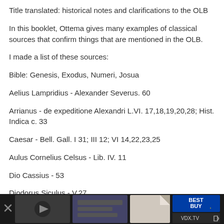Title translated: historical notes and clarifications to the OLB
In this booklet, Ottema gives many examples of classical sources that confirm things that are mentioned in the OLB.
I made a list of these sources:
Bible: Genesis, Exodus, Numeri, Josua
Aelius Lampridius - Alexander Severus. 60
Arrianus - de expeditione Alexandri L.VI. 17,18,19,20,28; Hist. Indica c. 33
Caesar - Bell. Gall. I 31; III 12; VI 14,22,23,25
Aulus Cornelius Celsus - Lib. IV. 11
Dio Cassius - 53
Diodorus Siculus - V.27
Dionysius Halicarnassensis - L XIV
[Figure (other): Advertisement banner at bottom: Best Buy ad with VDX.TV branding and video content thumbnails]